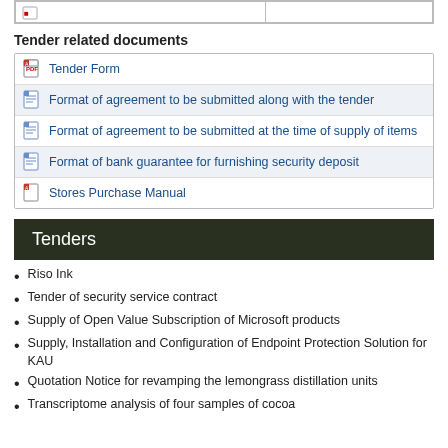|  |  |
Tender related documents
| Tender Form |
| Format of agreement to be submitted along with the tender |
| Format of agreement to be submitted at the time of supply of items |
| Format of bank guarantee for furnishing security deposit |
| Stores Purchase Manual |
Tenders
Riso Ink
Tender of security service contract
Supply of Open Value Subscription of Microsoft products
Supply, Installation and Configuration of Endpoint Protection Solution for KAU
Quotation Notice for revamping the lemongrass distillation units
Transcriptome analysis of four samples of cocoa